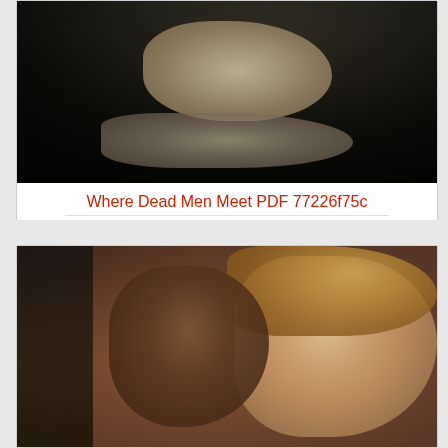[Figure (photo): Blurry grayscale/dark photo showing what appears to be objects on a surface, possibly items on a table or desk, with indistinct shapes]
Where Dead Men Meet PDF 77226f75c
[Figure (photo): Photo of three women/people visible, with dark-haired person in center wearing red, and a woman with curly blonde hair on the right, and partial figure on the left]